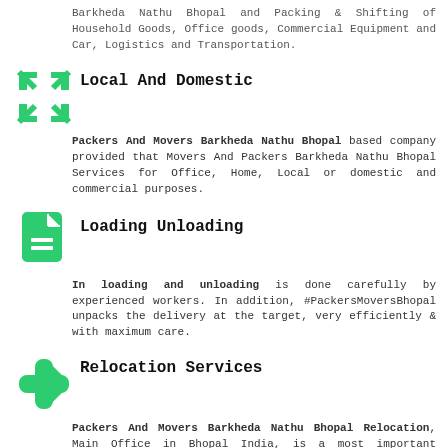Barkheda Nathu Bhopal and Packing & Shifting of Household Goods, Office goods, Commercial Equipment and Car, Logistics and Transportation.
Local And Domestic
Packers And Movers Barkheda Nathu Bhopal based company provided that Movers And Packers Barkheda Nathu Bhopal Services for Office, Home, Local or domestic and commercial purposes.
Loading Unloading
In loading and unloading is done carefully by experienced workers. In addition, #PackersMoversBhopal unpacks the delivery at the target, very efficiently & with maximum care.
Relocation Services
Packers And Movers Barkheda Nathu Bhopal Relocation, Main Office in Bhopal India, is a most important company relocation and home Shifting services association provided that relocation solutions to individuals and